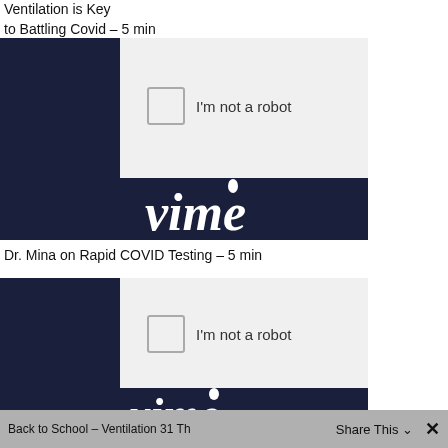Ventilation is Key to Battling Covid – 5 min
[Figure (screenshot): Vimeo video embed with reCAPTCHA 'I'm not a robot' checkbox and Vimeo logo on dark navy background. First embed for Dr. Mina on Rapid COVID Testing.]
Dr. Mina on Rapid COVID Testing – 5 min
[Figure (screenshot): Second Vimeo video embed with reCAPTCHA 'I'm not a robot' checkbox and Vimeo logo on dark navy background. Second embed for Back to School Ventilation video.]
Back to School – Ventilation 31   Share This  ×